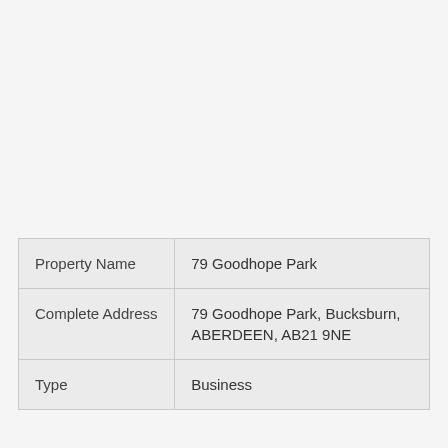|  |  |
| --- | --- |
| Property Name | 79 Goodhope Park |
| Complete Address | 79 Goodhope Park, Bucksburn, ABERDEEN, AB21 9NE |
| Type | Business |